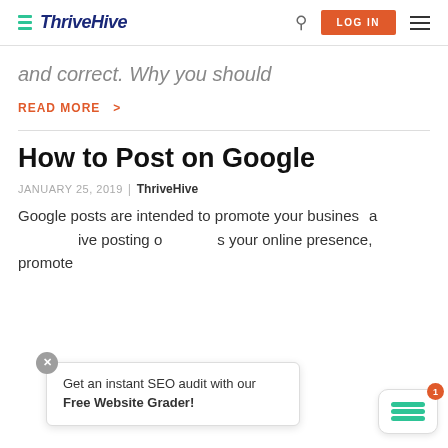ThriveHive | LOG IN
and correct. Why you should
READ MORE >
How to Post on Google
JANUARY 25, 2019 | ThriveHive
Google posts are intended to promote your business and give posting on your online presence, promote
Get an instant SEO audit with our Free Website Grader!